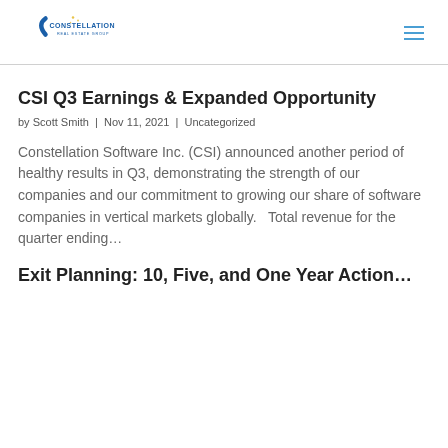[Figure (logo): Constellation Real Estate Group logo with star icon and blue text]
CSI Q3 Earnings & Expanded Opportunity
by Scott Smith | Nov 11, 2021 | Uncategorized
Constellation Software Inc. (CSI) announced another period of healthy results in Q3, demonstrating the strength of our companies and our commitment to growing our share of software companies in vertical markets globally.   Total revenue for the quarter ending…
Exit Planning: 10, Five, and One Year Action…